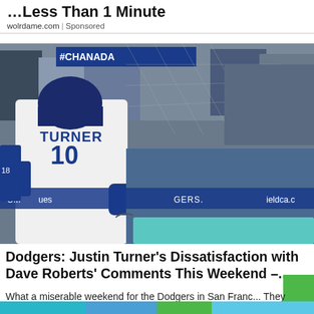Less Than 1 Minute
wolrdame.com | Sponsored
[Figure (photo): Los Angeles Dodgers player Justin Turner (#10) in white uniform being congratulated at dugout by coaches in Dodgers blue gear, with cheering crowd in background. BANK OF text visible on dugout rail.]
Dodgers: Justin Turner's Dissatisfaction with Dave Roberts' Comments This Weekend –...
What a miserable weekend for the Dodgers in San Franc... They headed north to the Giants and were embarrassed to